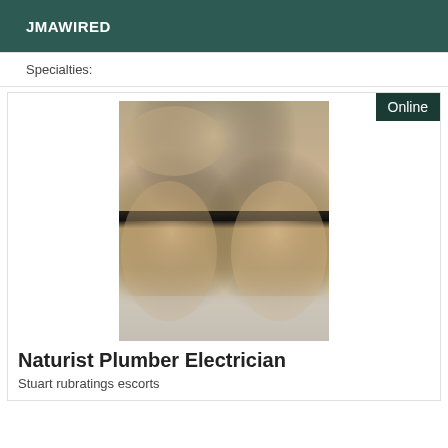JMAWIRED
Specialties:
[Figure (photo): A photo used in an escort listing]
Online
Naturist Plumber Electrician
Stuart rubratings escorts